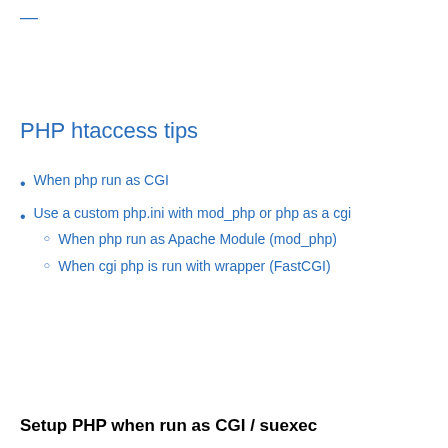—
PHP htaccess tips
When php run as CGI
Use a custom php.ini with mod_php or php as a cgi
When php run as Apache Module (mod_php)
When cgi php is run with wrapper (FastCGI)
Setup PHP when run as CGI / suexec